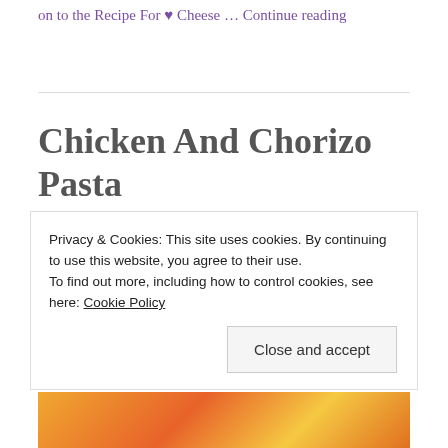on to the Recipe For ♥ Cheese … Continue reading
Chicken And Chorizo Pasta
Privacy & Cookies: This site uses cookies. By continuing to use this website, you agree to their use.
To find out more, including how to control cookies, see here: Cookie Policy
Close and accept
[Figure (photo): Bottom portion of a food photo showing pasta dish with orange/golden tones]